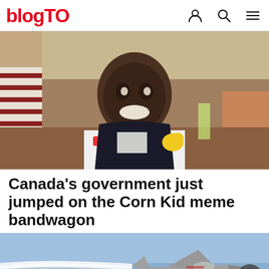blogTO
[Figure (photo): Young smiling boy wearing a white t-shirt with red bus print, seated at an outdoor restaurant table with people around him. He appears happy and is holding a small yellow toy.]
Canada's government just jumped on the Corn Kid meme bandwagon
[Figure (photo): A military fighter jet flying through a blue sky with a white smoke trail behind it.]